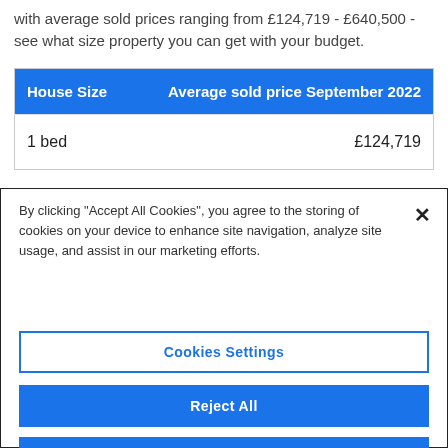with average sold prices ranging from £124,719 - £640,500 - see what size property you can get with your budget.
| House Size | Average sold price September 2022 |
| --- | --- |
| 1 bed | £124,719 |
By clicking "Accept All Cookies", you agree to the storing of cookies on your device to enhance site navigation, analyze site usage, and assist in our marketing efforts.